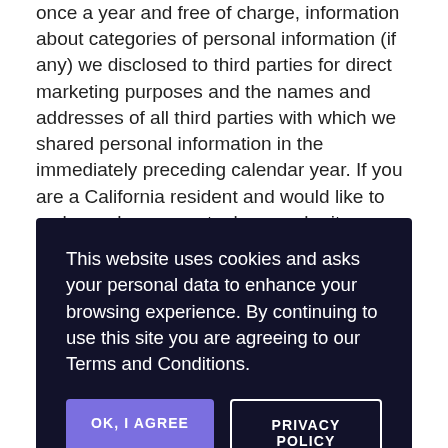once a year and free of charge, information about categories of personal information (if any) we disclosed to third parties for direct marketing purposes and the names and addresses of all third parties with which we shared personal information in the immediately preceding calendar year. If you are a California resident and would like to make such a request, please submit your request in writing to us using the contact information provided below.
If ... and h... ave t... t y... al d... i...
[Figure (screenshot): Cookie consent banner overlay with dark navy background. Text reads: 'This website uses cookies and asks your personal data to enhance your browsing experience. By continuing to use this site you are agreeing to our Terms and Conditions.' Two buttons: 'OK, I AGREE' (purple) and 'PRIVACY POLICY' (outlined).]
but please be aware that the data may not be